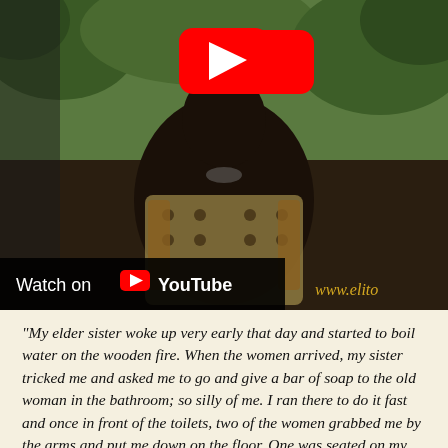[Figure (screenshot): A YouTube video thumbnail showing a person wearing a patterned traditional garment with a necklace, outdoors with green foliage in the background. A red YouTube play button icon is centered on the image. At the bottom left is a 'Watch on YouTube' bar, and at the bottom right is a partial watermark reading 'www.elito...']
"My elder sister woke up very early that day and started to boil water on the wooden fire. When the women arrived, my sister tricked me and asked me to go and give a bar of soap to the old woman in the bathroom; so silly of me. I ran there to do it fast and once in front of the toilets, two of the women grabbed me by the arms and put me down on the floor. One was seated on my belly holding my two wrists on my chest, the two others were holding my feet and then below me, in the middle